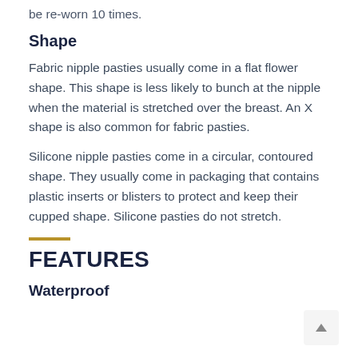be re-worn 10 times.
Shape
Fabric nipple pasties usually come in a flat flower shape. This shape is less likely to bunch at the nipple when the material is stretched over the breast. An X shape is also common for fabric pasties.
Silicone nipple pasties come in a circular, contoured shape. They usually come in packaging that contains plastic inserts or blisters to protect and keep their cupped shape. Silicone pasties do not stretch.
FEATURES
Waterproof